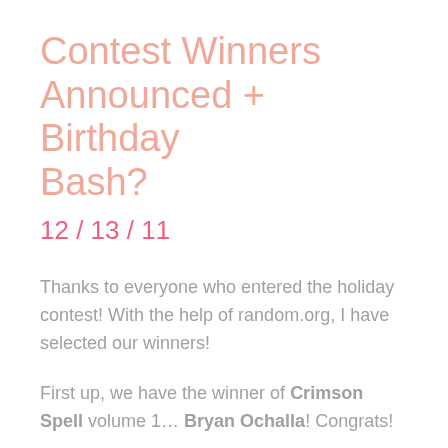Contest Winners Announced + Birthday Bash?
12 / 13 / 11
Thanks to everyone who entered the holiday contest! With the help of random.org, I have selected our winners!
First up, we have the winner of Crimson Spell volume 1… Bryan Ochalla! Congrats!
Second, the winner of the Arc Rise Fantasia/El Shaddai pack… ftkubota! Yay!